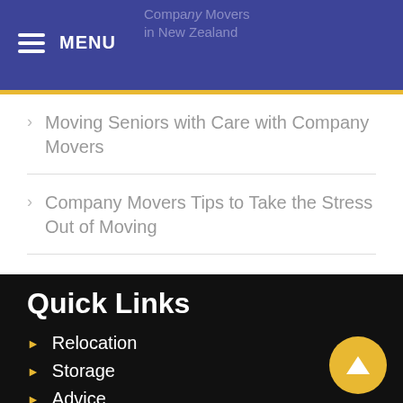MENU
Moving Seniors with Care with Company Movers
Company Movers Tips to Take the Stress Out of Moving
Quick Links
Relocation
Storage
Advice
Testimonials